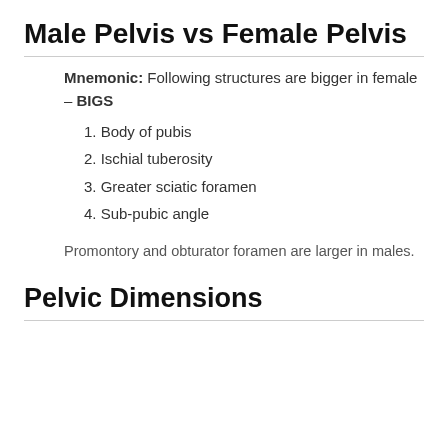Male Pelvis vs Female Pelvis
Mnemonic: Following structures are bigger in female – BIGS
1. Body of pubis
2. Ischial tuberosity
3. Greater sciatic foramen
4. Sub-pubic angle
Promontory and obturator foramen are larger in males.
Pelvic Dimensions